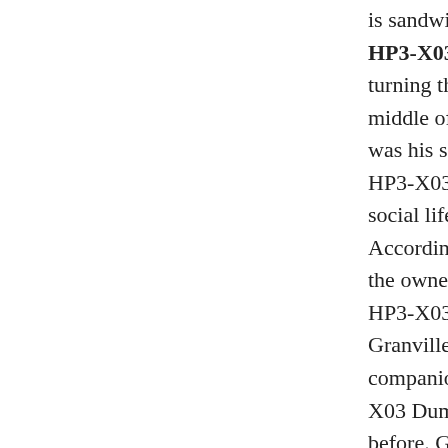is sandwiched between the head HP HP3-X03 Dumps and shoulder, while turning the newspaper. Where In the middle of the page. Heading word was his social life If he has a HP HP3-X03 Dumps social life, then this social life is another matter entirely. According to the reporter contacted the owner of memories 070-518 HP HP3-X03 Dumps over the years Granville Seoul. Lee with a female companion never appear in HP HP3-X03 Dumps any social situations before. Given HP HP3-X03 Dumps that he has no proof to the contrary habit